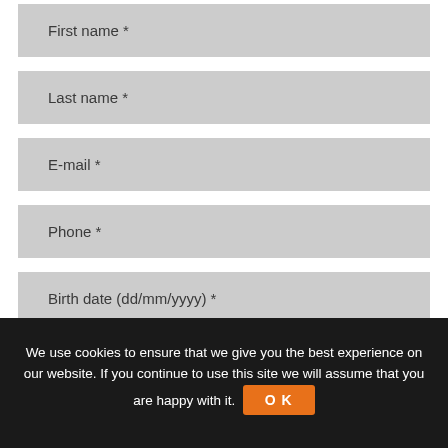First name *
Last name *
E-mail *
Phone *
Birth date (dd/mm/yyyy) *
We use cookies to ensure that we give you the best experience on our website. If you continue to use this site we will assume that you are happy with it. OK